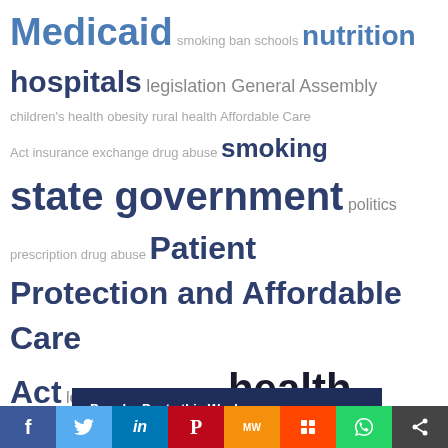[Figure (infographic): Word cloud containing health policy related terms in varying sizes and shades of gray/dark blue. Terms include: Medicaid, smoking ban schools, nutrition, hospitals, legislation, General Assembly, children's health obesity rural health Affordable Care Act insurance exchange drug abuse, smoking, state government, politics, prescription drug abuse, Patient Protection and Affordable Care Act, legislature, obamacare, health insurance, health reform, tobacco, children, research]
Popular Posts this Week
All about your coronavirus vaccine card
[Figure (infographic): Social media share buttons bar at bottom: Facebook (blue), Twitter (light blue), LinkedIn (dark blue), Pinterest (red), MeWe (orange), Mix (red-orange), WhatsApp (green), Share (dark gray)]